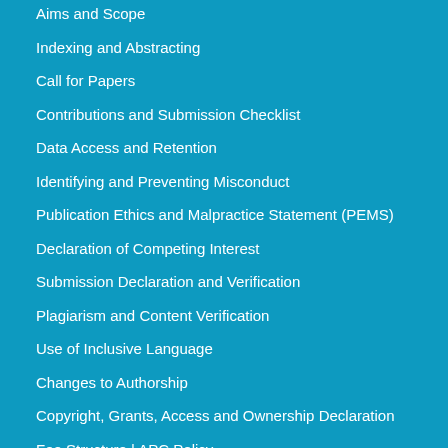Aims and Scope
Indexing and Abstracting
Call for Papers
Contributions and Submission Checklist
Data Access and Retention
Identifying and Preventing Misconduct
Publication Ethics and Malpractice Statement (PEMS)
Declaration of Competing Interest
Submission Declaration and Verification
Plagiarism and Content Verification
Use of Inclusive Language
Changes to Authorship
Copyright, Grants, Access and Ownership Declaration
Fee Structure | APC Policy